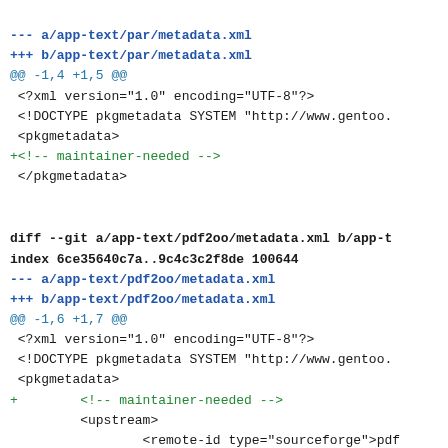--- a/app-text/par/metadata.xml
+++ b/app-text/par/metadata.xml
@@ -1,4 +1,5 @@
 <?xml version="1.0" encoding="UTF-8"?>
 <!DOCTYPE pkgmetadata SYSTEM "http://www.gentoo.
 <pkgmetadata>
+<!-- maintainer-needed -->
 </pkgmetadata>
diff --git a/app-text/pdf2oo/metadata.xml b/app-t
index 6ce35640c7a..9c4c3c2f8de 100644
--- a/app-text/pdf2oo/metadata.xml
+++ b/app-text/pdf2oo/metadata.xml
@@ -1,6 +1,7 @@
 <?xml version="1.0" encoding="UTF-8"?>
 <!DOCTYPE pkgmetadata SYSTEM "http://www.gentoo.
 <pkgmetadata>
+        <!-- maintainer-needed -->
         <upstream>
                 <remote-id type="sourceforge">pdf
         </upstream>